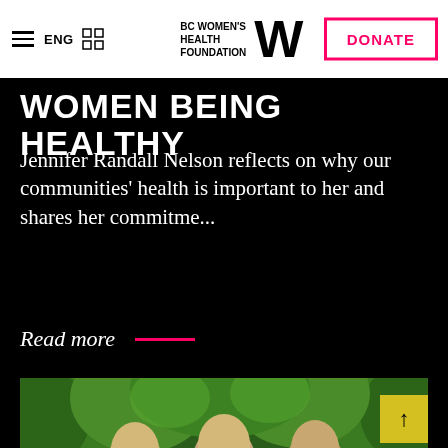ENG | BC Women's Health Foundation W | DONATE
WOMEN BEING HEALTHY
Jennifer Randall Nelson reflects on why our communities' health is important to her and shares her commitme...
Read more —
[Figure (photo): Three young women with long blonde hair smiling outdoors, surrounded by green trees]